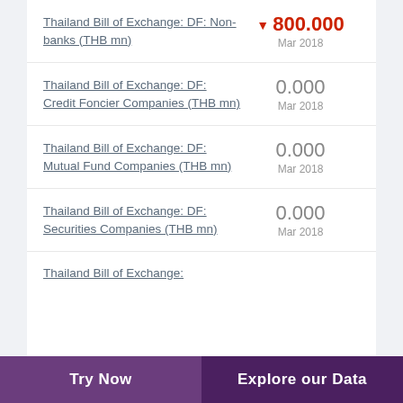Thailand Bill of Exchange: DF: Non-banks (THB mn) — ▼ 800.000, Mar 2018
Thailand Bill of Exchange: DF: Credit Foncier Companies (THB mn) — 0.000, Mar 2018
Thailand Bill of Exchange: DF: Mutual Fund Companies (THB mn) — 0.000, Mar 2018
Thailand Bill of Exchange: DF: Securities Companies (THB mn) — 0.000, Mar 2018
Thailand Bill of Exchange: (partial)
Try Now   Explore our Data